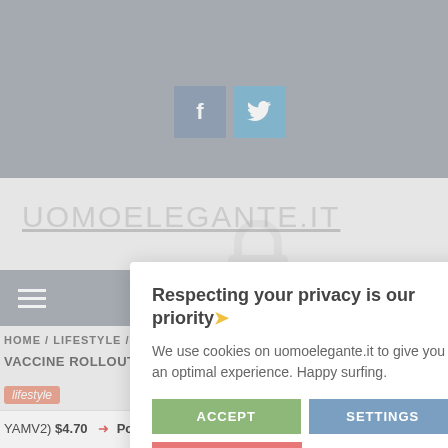[Figure (screenshot): Top gray banner with Facebook and Twitter social media icon buttons (blue-gray squares with f and bird icons)]
UOMOELEGANTE.IT
[Figure (screenshot): Gray navigation bar with hamburger menu icon (three white horizontal lines)]
HOME / LIFESTYLE / GRI
VACCINE ROLLOUT IS GO
lifestyle
Respecting your privacy is our priority
We use cookies on uomoelegante.it to give you an optimal experience. Happy surfing.
ACCEPT   SETTINGS   REJECT ALL
YAMV2)  $4.70   PolkaBridge(PBR)  $0.439876   DSLA Protoco